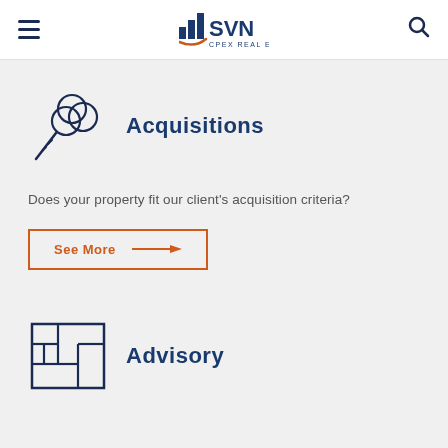SVN CPEX Real Estate
[Figure (logo): SVN CPEX Real Estate logo with bar chart icon in navy and orange]
[Figure (illustration): Key icon with circular bow design in navy outline style]
Acquisitions
Does your property fit our client's acquisition criteria?
See More →
[Figure (illustration): Puzzle/maze icon in navy outline style]
Advisory